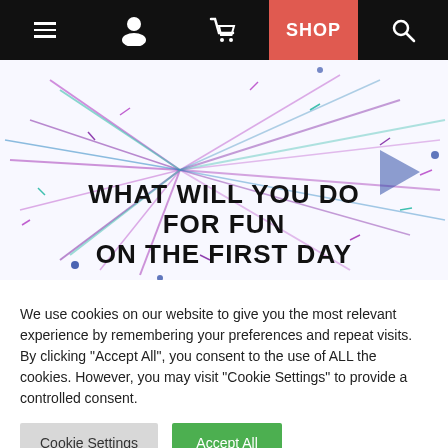Navigation bar with menu, user, cart, SHOP, and search icons
[Figure (screenshot): Hero image with colorful confetti/sparkle lines on white background and text: WHAT WILL YOU DO FOR FUN ON THE FIRST DAY]
We use cookies on our website to give you the most relevant experience by remembering your preferences and repeat visits. By clicking “Accept All”, you consent to the use of ALL the cookies. However, you may visit “Cookie Settings” to provide a controlled consent.
Cookie Settings | Accept All